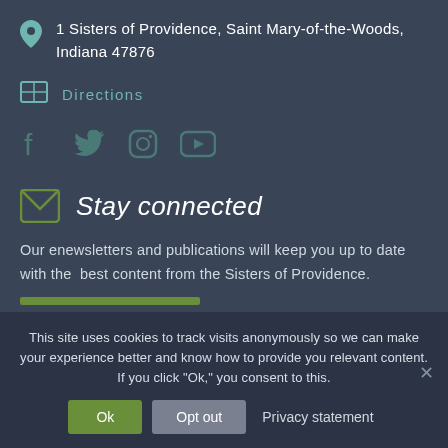1 Sisters of Providence, Saint Mary-of-the-Woods, Indiana 47876
Directions
[Figure (other): Social media icons: Facebook, Twitter, Instagram, YouTube]
Stay connected
Our enewsletters and publications will keep you up to date with the best content from the Sisters of Providence.
This site uses cookies to track visits anonymously so we can make your experience better and know how to provide you relevant content. If you click "Ok," you consent to this.